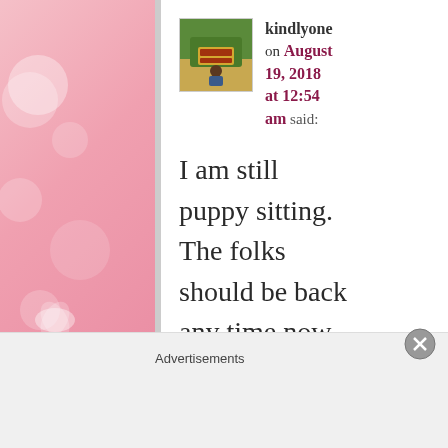[Figure (screenshot): Blog comment screenshot showing user avatar, username 'kindlyone', date 'on August 19, 2018 at 12:54 am said:', and comment text 'I am still puppy sitting. The folks should be back any time now,' with pink decorative background panels on left and right, and an Advertisements label at the bottom.]
kindlyone on August 19, 2018 at 12:54 am said: I am still puppy sitting. The folks should be back any time now,
Advertisements